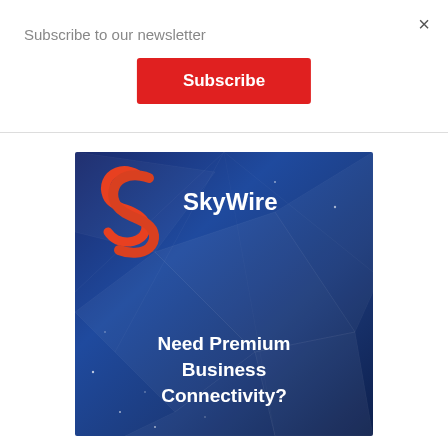Subscribe to our newsletter
×
Subscribe
[Figure (illustration): SkyWire advertisement banner with dark blue geometric polygon background, orange/red S logo, white 'SkyWire' brand name, and white text reading 'Need Premium Business Connectivity?']